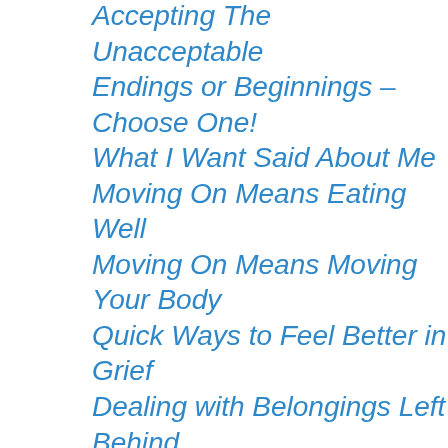Accepting The Unacceptable
Endings or Beginnings – Choose One!
What I Want Said About Me
Moving On Means Eating Well
Moving On Means Moving Your Body
Quick Ways to Feel Better in Grief
Dealing with Belongings Left Behind
Wearing Too Many Hats
Tomorrow I'll do it!
Partnering With A Grief Partner
Being Honest With God About Grief
Houston, we have a problem!
Mourning The Living
Put On A Happy Face!
Are You Ready To Help Others? Probably not...